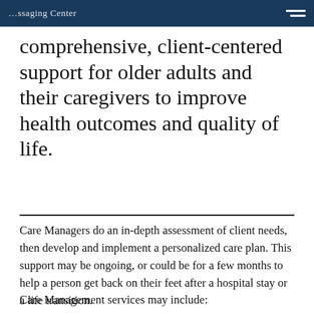comprehensive, client-centered support for older adults and their caregivers to improve health outcomes and quality of life.
comprehensive, client-centered support for older adults and their caregivers to improve health outcomes and quality of life.
Care Managers do an in-depth assessment of client needs, then develop and implement a personalized care plan. This support may be ongoing, or could be for a few months to help a person get back on their feet after a hospital stay or a life transition.
Care Management services may include: